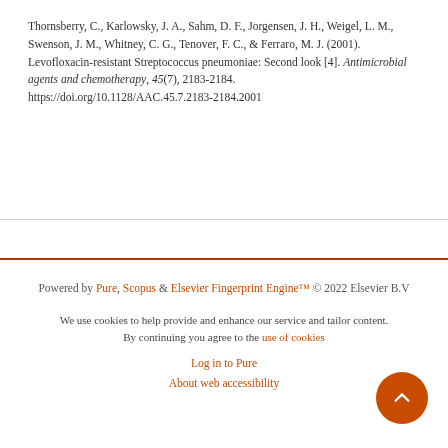Thornsberry, C., Karlowsky, J. A., Sahm, D. F., Jorgensen, J. H., Weigel, L. M., Swenson, J. M., Whitney, C. G., Tenover, F. C., & Ferraro, M. J. (2001). Levofloxacin-resistant Streptococcus pneumoniae: Second look [4]. Antimicrobial agents and chemotherapy, 45(7), 2183-2184. https://doi.org/10.1128/AAC.45.7.2183-2184.2001
Powered by Pure, Scopus & Elsevier Fingerprint Engine™ © 2022 Elsevier B.V
We use cookies to help provide and enhance our service and tailor content. By continuing you agree to the use of cookies
Log in to Pure
About web accessibility